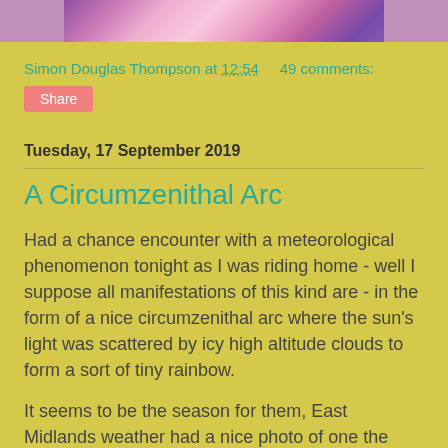[Figure (photo): Partial view of pink and purple flowers, cropped at the top of the page]
Simon Douglas Thompson at 12:54    49 comments:
Share
Tuesday, 17 September 2019
A Circumzenithal Arc
Had a chance encounter with a meteorological phenomenon tonight as I was riding home - well I suppose all manifestations of this kind are - in the form of a nice circumzenithal arc where the sun's light was scattered by icy high altitude clouds to form a sort of tiny rainbow.
It seems to be the season for them, East Midlands weather had a nice photo of one the other day; perhaps a low sun makes for optimal conditions for these arcs.